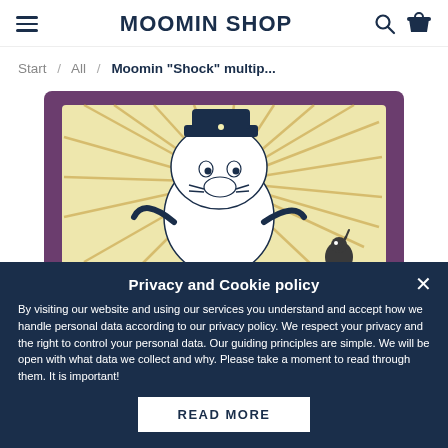MOOMIN SHOP
Start / All / Moomin "Shock" multip...
[Figure (photo): A purple textile/pillow case featuring a Moomin 'Shock' illustration with a Moomin character wearing a policeman hat with dramatic lines radiating behind it, and a small creature in the corner. The product image is shown on a white background.]
Privacy and Cookie policy
By visiting our website and using our services you understand and accept how we handle personal data according to our privacy policy. We respect your privacy and the right to control your personal data. Our guiding principles are simple. We will be open with what data we collect and why. Please take a moment to read through them. It is important!
READ MORE